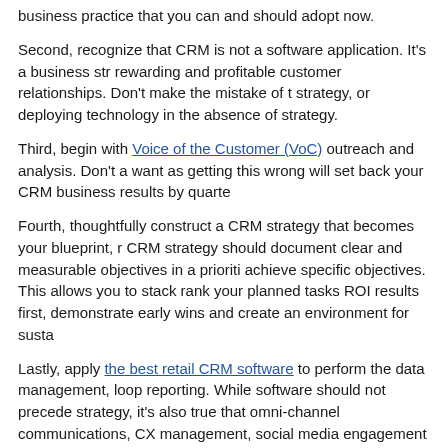business practice that you can and should adopt now.
Second, recognize that CRM is not a software application. It's a business str rewarding and profitable customer relationships. Don't make the mistake of t strategy, or deploying technology in the absence of strategy.
Third, begin with Voice of the Customer (VoC) outreach and analysis. Don't a want as getting this wrong will set back your CRM business results by quarte
Fourth, thoughtfully construct a CRM strategy that becomes your blueprint, r CRM strategy should document clear and measurable objectives in a prioriti achieve specific objectives. This allows you to stack rank your planned tasks ROI results first, demonstrate early wins and create an environment for susta
Lastly, apply the best retail CRM software to perform the data management, loop reporting. While software should not precede strategy, it's also true that omni-channel communications, CX management, social media engagement marketing automation and the like can't be done at scale, or quite possibly a
Since the advent of the term CRM in 1992, retailers have largely ignored this didn't have the means to track and engage consumers in a relevant, persona now changed, and those retailers that capitalize on these new consumer rela certainly outperform competitors who continue to treat this movement as jus
How would you rate this article? Excellent Very Good
[Figure (logo): Twitter bird logo icon]
[Figure (logo): Facebook logo icon]